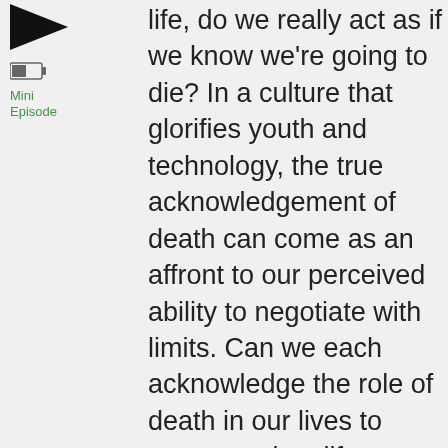[Figure (other): Black play button triangle icon in top-left corner]
[Figure (other): Battery/mini episode icon]
Mini Episode
life, do we really act as if we know we're going to die? In a culture that glorifies youth and technology, the true acknowledgement of death can come as an affront to our perceived ability to negotiate with limits. Can we each acknowledge the role of death in our lives to create a wiser life, throughout and at its end?
Stephen Jenkinson returns in Extraenvironmentalist #80 to discuss the wisdom that death can bring to our distaste of limits. Then, we talk to hospice nurse Meg Smith about the epidemic of cognitive impairment